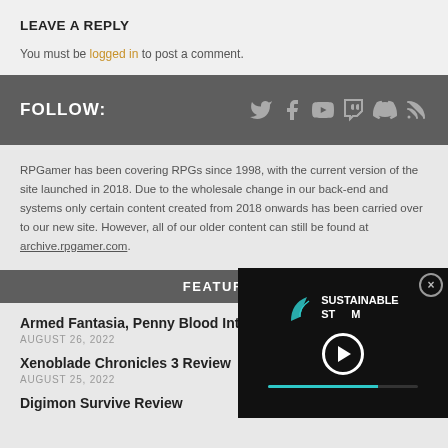LEAVE A REPLY
You must be logged in to post a comment.
FOLLOW:
[Figure (infographic): Social media icons: Twitter, Facebook, YouTube, Twitch, Discord, RSS]
RPGamer has been covering RPGs since 1998, with the current version of the site launched in 2018. Due to the wholesale change in our back-end and systems only certain content created from 2018 onwards has been carried over to our new site. However, all of our older content can still be found at archive.rpgamer.com.
FEATURED
Armed Fantasia, Penny Blood Interview
AUGUST 26, 2022
Xenoblade Chronicles 3 Review
AUGUST 25, 2022
Digimon Survive Review
[Figure (screenshot): Video player overlay showing Sustainable Stream branding with play button and teal progress bar]